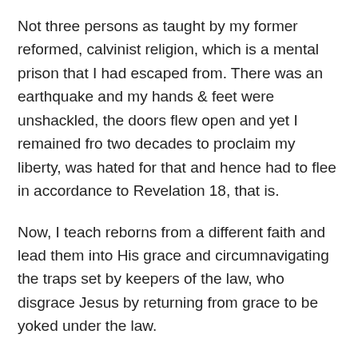Not three persons as taught by my former reformed, calvinist religion, which is a mental prison that I had escaped from. There was an earthquake and my hands & feet were unshackled, the doors flew open and yet I remained fro two decades to proclaim my liberty, was hated for that and hence had to flee in accordance to Revelation 18, that is.
Now, I teach reborns from a different faith and lead them into His grace and circumnavigating the traps set by keepers of the law, who disgrace Jesus by returning from grace to be yoked under the law.
Those who negate, nullify and disregard His grace, making His suffering to be a romantic fool